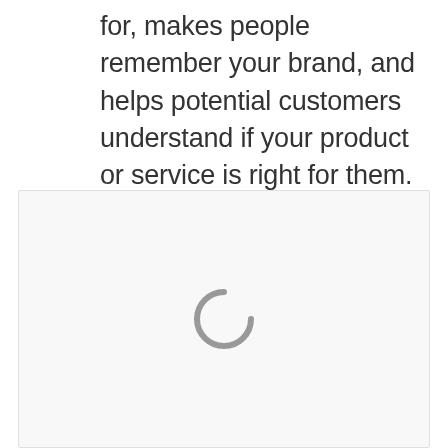for, makes people remember your brand, and helps potential customers understand if your product or service is right for them. Branding communicates all of that through color, shape and other design elements. Learn how to make your golf brand tell your story.
[Figure (other): Loading spinner icon (circular arc in gray) centered in a light gray rectangle, indicating content is loading]